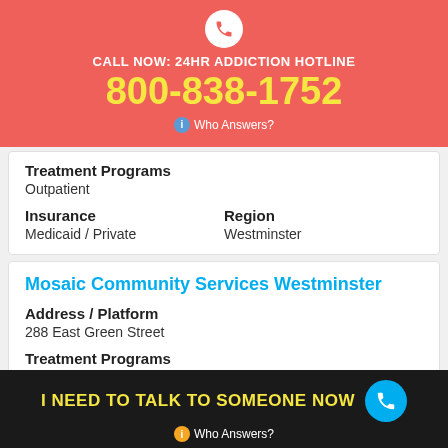[Figure (infographic): Red banner with phone icon, CALL NOW: 24HR ADDICTION HOTLINE, phone number 800-838-1752, and Who Answers?]
Treatment Programs
Outpatient
Insurance
Medicaid / Private
Region
Westminster
Mosaic Community Services Westminster
Address / Platform
288 East Green Street
Treatment Programs
Inpatient / Outpatient
Insurance
Medicaid / Private
Region
Westminster
[Figure (infographic): Dark footer banner: I NEED TO TALK TO SOMEONE NOW with phone icon and Who Answers?]